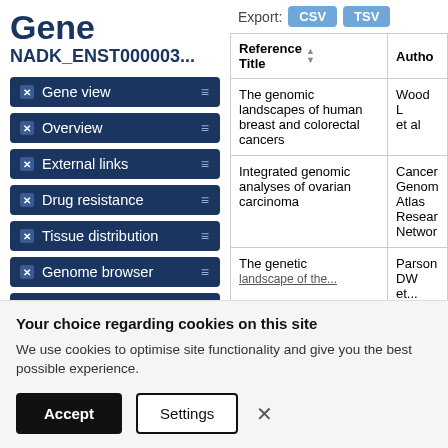Gene
NADK_ENST000003...
× Gene view
× Overview
× External links
× Drug resistance
× Tissue distribution
× Genome browser
× Mutation distribution
Export: CSV TSV
| Reference Title | Author |
| --- | --- |
| The genomic landscapes of human breast and colorectal cancers | Wood L et al |
| Integrated genomic analyses of ovarian carcinoma | Cancer Genome Atlas Research Network |
| The genetic landscape of the... | Parson DW et... |
Your choice regarding cookies on this site
We use cookies to optimise site functionality and give you the best possible experience.
Accept  Settings  ×